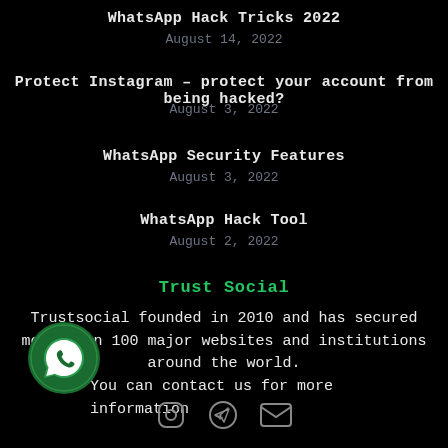WhatsApp Hack Tricks 2022
August 14, 2022
Protect Instagram – protect your account from being hacked?
August 3, 2022
WhatsApp Security Features
August 3, 2022
WhatsApp Hack Tool
August 2, 2022
Trust Social
Trustsocial founded in 2010 and has secured more than 100 major websites and institutions around the world.
You can contact us for more information
[Figure (logo): WhatsApp logo in dark green circle, bottom left]
[Figure (infographic): Footer social icons: Instagram, Telegram, Email]